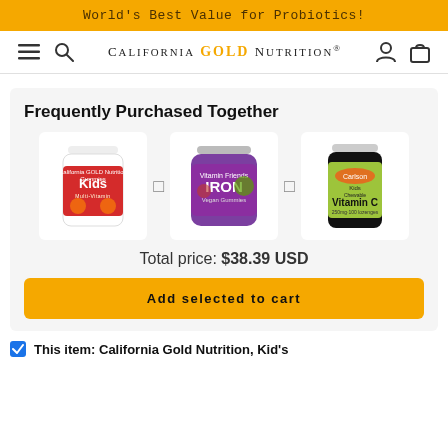World's Best Value for Probiotics!
[Figure (screenshot): California Gold Nutrition website navigation bar with hamburger menu, search icon, logo, user icon, and cart icon]
Frequently Purchased Together
[Figure (photo): Three product images: California Gold Nutrition Kids multivitamin gummies bottle, Vitamin Friends Iron Vegan Gummies jar, and Carlson Kids Chewable Vitamin C bottle, arranged with plus signs between them]
Total price: $38.39 USD
Add selected to cart
This item: California Gold Nutrition, Kid's